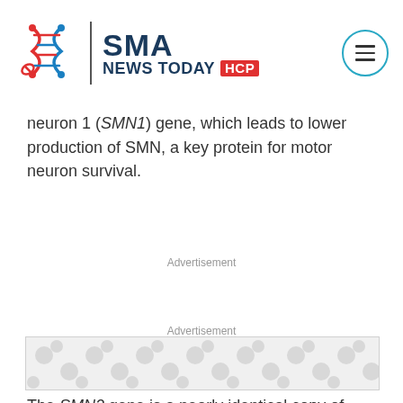SMA NEWS TODAY HCP
neuron 1 (SMN1) gene, which leads to lower production of SMN, a key protein for motor neuron survival.
Advertisement
Advertisement
[Figure (other): Advertisement banner with DNA/molecule pattern in grey on white background]
The SMN2 gene is a nearly identical copy of SMN1